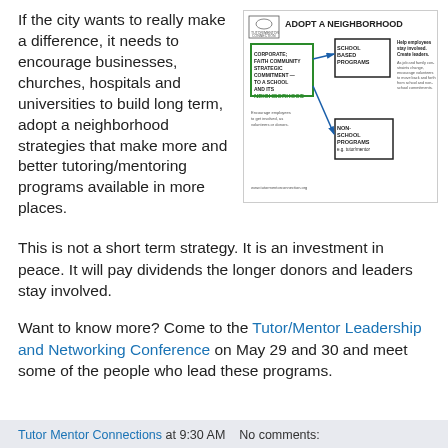If the city wants to really make a difference, it needs to encourage businesses, churches, hospitals and universities to build long term, adopt a neighborhood strategies that make more and better tutoring/mentoring programs available in more places.
[Figure (infographic): Adopt a Neighborhood diagram from Tutor/Mentor Connection showing corporate/faith community strategic commitment to a school and its neighborhood, with arrows pointing to School Based Programs and Non-School Programs (e.g. tutor/mentor), and text about helping employees stay involved and creating leaders.]
This is not a short term strategy. It is an investment in peace. It will pay dividends the longer donors and leaders stay involved.
Want to know more? Come to the Tutor/Mentor Leadership and Networking Conference on May 29 and 30 and meet some of the people who lead these programs.
Tutor Mentor Connections at 9:30 AM   No comments: